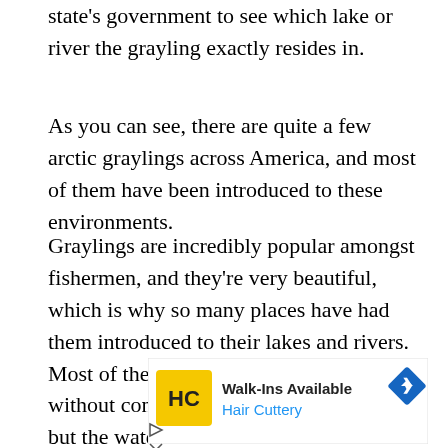state's government to see which lake or river the grayling exactly resides in.
As you can see, there are quite a few arctic graylings across America, and most of them have been introduced to these environments.
Graylings are incredibly popular amongst fishermen, and they're very beautiful, which is why so many places have had them introduced to their lakes and rivers. Most of these introductions were done without considering ecological changes, but the waters with these fish have still managed to prevail, despite it.
[Figure (infographic): Advertisement banner for Hair Cuttery showing 'Walk-Ins Available' text, Hair Cuttery logo (HC in yellow square), blue Hair Cuttery text, and a blue diamond navigation arrow icon.]